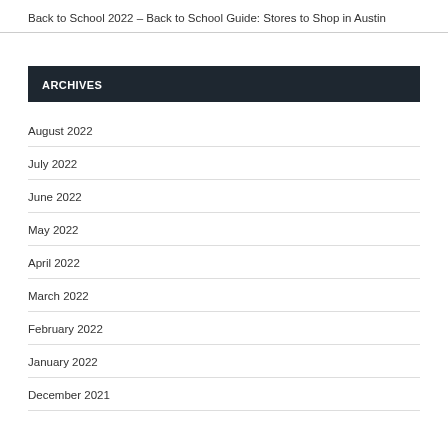Back to School 2022 – Back to School Guide: Stores to Shop in Austin
ARCHIVES
August 2022
July 2022
June 2022
May 2022
April 2022
March 2022
February 2022
January 2022
December 2021